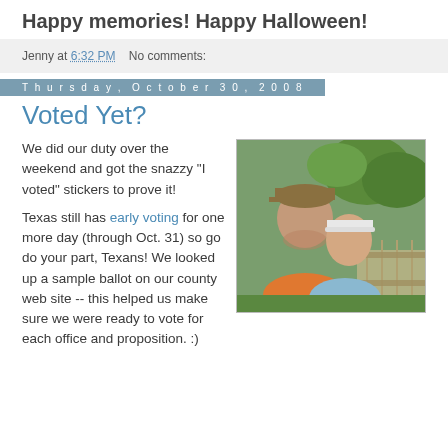Happy memories! Happy Halloween!
Jenny at 6:32 PM    No comments:
Thursday, October 30, 2008
Voted Yet?
[Figure (photo): A man in an orange shirt and cap and a woman in a white visor smiling together outdoors, with trees and a fence in the background.]
We did our duty over the weekend and got the snazzy "I voted" stickers to prove it!

Texas still has early voting for one more day (through Oct. 31) so go do your part, Texans! We looked up a sample ballot on our county web site -- this helped us make sure we were ready to vote for each office and proposition. :)